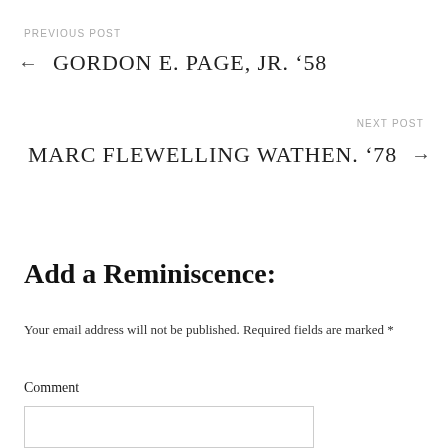PREVIOUS POST
← GORDON E. PAGE, JR. '58
NEXT POST
MARC FLEWELLING WATHEN. '78 →
Add a Reminiscence:
Your email address will not be published. Required fields are marked *
Comment